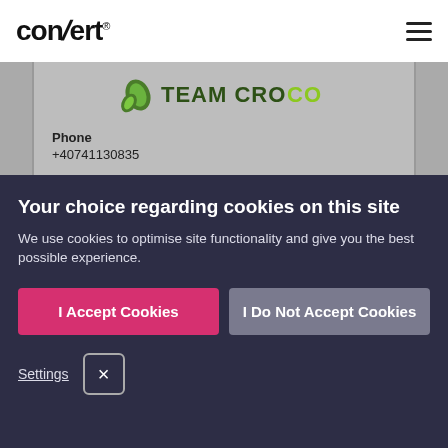convert® [hamburger menu icon]
[Figure (logo): Team Croco logo with green leaf icon and text TEAM CROCO in dark green and lime green colors]
Phone
+40741130835
Your choice regarding cookies on this site
We use cookies to optimise site functionality and give you the best possible experience.
I Accept Cookies
I Do Not Accept Cookies
Settings